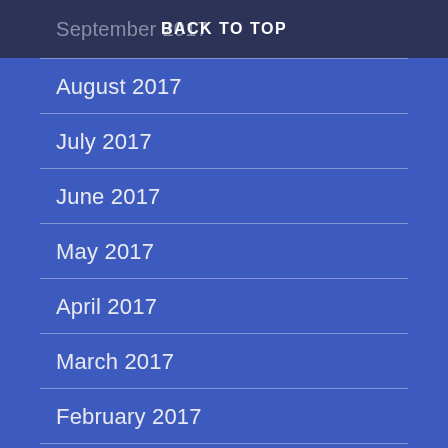September 2017  BACK TO TOP
August 2017
July 2017
June 2017
May 2017
April 2017
March 2017
February 2017
January 2017